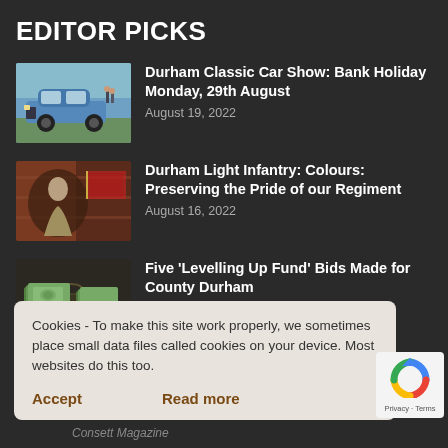EDITOR PICKS
Durham Classic Car Show: Bank Holiday Monday, 29th August
August 19, 2022
Durham Light Infantry: Colours: Preserving the Pride of our Regiment
August 16, 2022
Five 'Levelling Up Fund' Bids Made for County Durham
Cookies - To make this site work properly, we sometimes place small data files called cookies on your device. Most websites do this too.
Accept    Read more
[Figure (logo): reCAPTCHA logo with Privacy - Terms text]
Consett Magazine